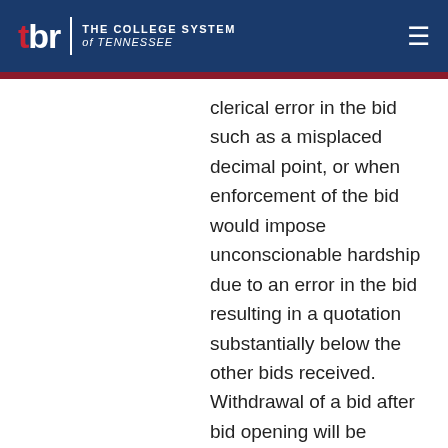TBR | THE COLLEGE SYSTEM of TENNESSEE
clerical error in the bid such as a misplaced decimal point, or when enforcement of the bid would impose unconscionable hardship due to an error in the bid resulting in a quotation substantially below the other bids received. Withdrawal of a bid after bid opening will be considered only upon written request from the vendor. In cases of errors in the extension of prices in the bid, the unit